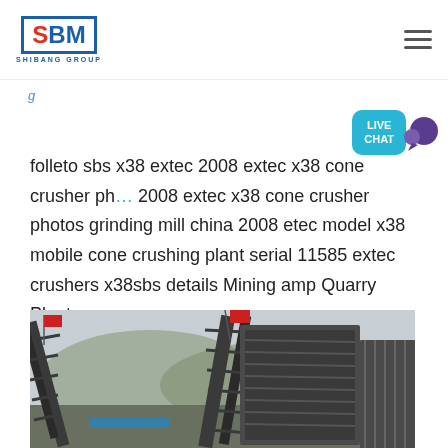SBM SHIBANG GROUP
folleto sbs x38 extec 2008 extec x38 cone crusher photos 2008 extec x38 cone crusher photos grinding mill china 2008 etec model x38 mobile cone crushing plant serial 11585 extec crushers x38sbs details Mining amp Quarry Plant
[Figure (photo): Industrial conveyor belts or mining equipment with red flags at a quarry or mining site, mountains visible in background, overcast sky]